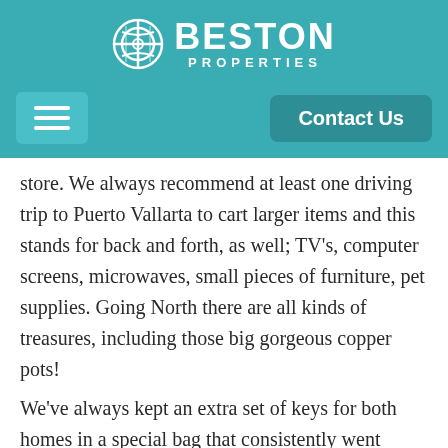[Figure (logo): Beston Properties logo with circular globe icon and white text on teal background]
Beston Properties navigation bar with hamburger menu and Contact Us button
store. We always recommend at least one driving trip to Puerto Vallarta to cart larger items and this stands for back and forth, as well; TV’s, computer screens, microwaves, small pieces of furniture, pet supplies. Going North there are all kinds of treasures, including those big gorgeous copper pots!
We’ve always kept an extra set of keys for both homes in a special bag that consistently went traveling in either direction. This really helped